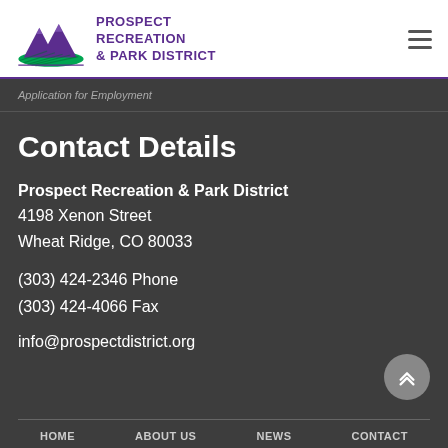[Figure (logo): Prospect Recreation & Park District logo with mountain and green field graphic]
PROSPECT RECREATION & PARK DISTRICT
Application for Employment
Contact Details
Prospect Recreation & Park District
4198 Xenon Street
Wheat Ridge, CO 80033

(303) 424-2346 Phone
(303) 424-4066 Fax

info@prospectdistrict.org
HOME   ABOUT US   NEWS   CONTACT